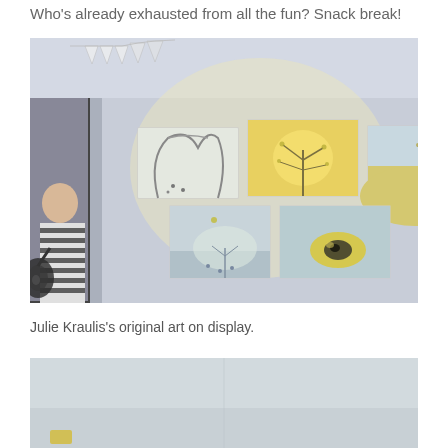Who's already exhausted from all the fun? Snack break!
[Figure (photo): Interior gallery scene showing five landscape paintings on a white wall, with triangular bunting flags near the ceiling. A person in a striped top and bag stands to the left looking at the art. Paintings feature trees and yellow/muted pastel tones.]
Julie Kraulis's original art on display.
[Figure (photo): Partial view of a gallery or display space, light colored walls, cropped at bottom of page.]